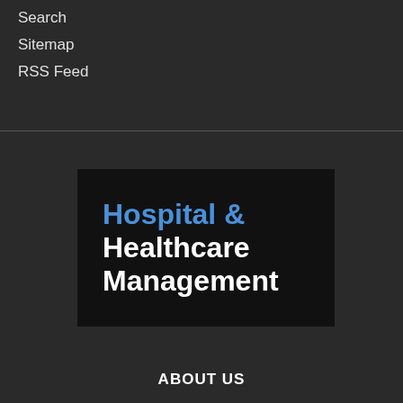Search
Sitemap
RSS Feed
[Figure (logo): Hospital & Healthcare Management logo — dark background with blue 'Hospital &' text and white 'Healthcare Management' text]
ABOUT US